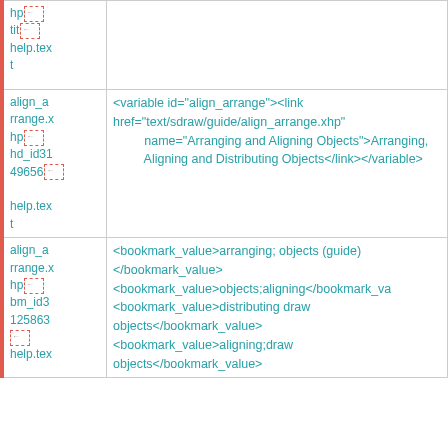| ID | Content |
| --- | --- |
| hp←
tit←
help.text |  |
| align_arrange.xhp←
hd_id3149656←
help.text | <variable id="align_arrange"><link href="text/sdraw/guide/align_arrange.xhp" name="Arranging and Aligning Objects">Arranging, Aligning and Distributing Objects</link></variable> |
| align_arrange.xhp←
bm_id3125863←
help.text | <bookmark_value>arranging; objects (guide)</bookmark_value>
</bookmark_value>
<bookmark_value>objects;aligning</bookmark_value>
<bookmark_value>distributing draw objects</bookmark_value>
<bookmark_value>aligning;draw objects</bookmark_value> |